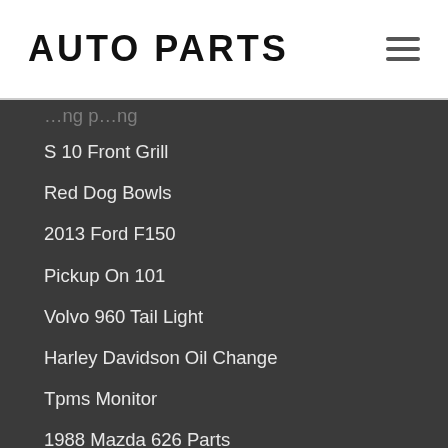AUTO PARTS
S 10 Front Grill
Red Dog Bowls
2013 Ford F150
Pickup On 101
Volvo 960 Tail Light
Harley Davidson Oil Change
Tpms Monitor
1988 Mazda 626 Parts
24 Hour Auto Parts Portland
Atv Shock
Atv Front Box
Net Sport
Bonefish Bike (partial)